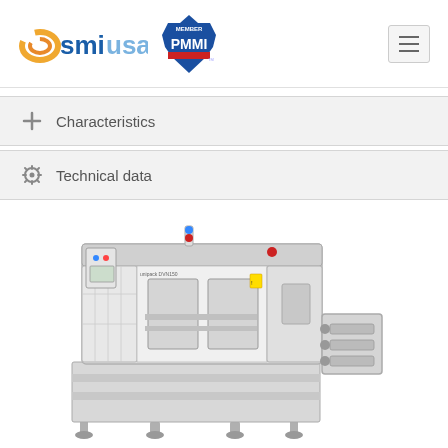[Figure (logo): SMI USA logo with orange swirl icon and blue 'smiusa' text, alongside PMMI Member badge]
+ Characteristics
⚙ Technical data
[Figure (photo): Industrial packaging machine - Unipack DVN150 by SMI, white metal frame enclosure with glass panels, control panel, and conveyor system attachments]